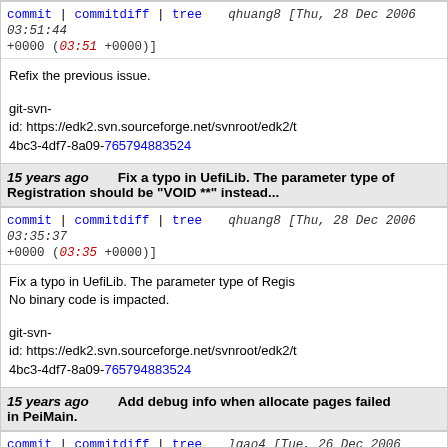commit | commitdiff | tree  qhuang8 [Thu, 28 Dec 2006 03:51:44 +0000 (03:51 +0000)]
Refix the previous issue.

git-svn-id: https://edk2.svn.sourceforge.net/svnroot/edk2/t 4bc3-4df7-8a09-765794883524
15 years ago  Fix a typo in UefiLib. The parameter type of Registration should be "VOID **" instead...
commit | commitdiff | tree  qhuang8 [Thu, 28 Dec 2006 03:35:37 +0000 (03:35 +0000)]
Fix a typo in UefiLib. The parameter type of Registration should be "VOID **" instead...
No binary code is impacted.

git-svn-id: https://edk2.svn.sourceforge.net/svnroot/edk2/t 4bc3-4df7-8a09-765794883524
15 years ago  Add debug info when allocate pages failed in PeiMain.
commit | commitdiff | tree  lgao4 [Tue, 26 Dec 2006 10:43:20 +0000 (10:43 +0000)]
Add debug info when allocate pages failed in Pei...